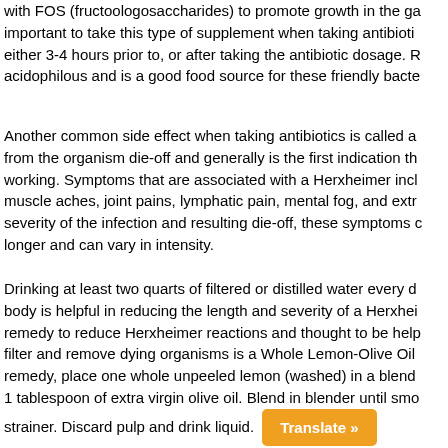with FOS (fructoologosaccharides) to promote growth in the ga important to take this type of supplement when taking antibioti either 3-4 hours prior to, or after taking the antibiotic dosage. R acidophilous and is a good food source for these friendly bacte
Another common side effect when taking antibiotics is called a from the organism die-off and generally is the first indication th working. Symptoms that are associated with a Herxheimer incl muscle aches, joint pains, lymphatic pain, mental fog, and extr severity of the infection and resulting die-off, these symptoms c longer and can vary in intensity.
Drinking at least two quarts of filtered or distilled water every d body is helpful in reducing the length and severity of a Herxhei remedy to reduce Herxheimer reactions and thought to be help filter and remove dying organisms is a Whole Lemon-Olive Oil remedy, place one whole unpeeled lemon (washed) in a blend 1 tablespoon of extra virgin olive oil. Blend in blender until smo strainer. Discard pulp and drink liquid. Translate »